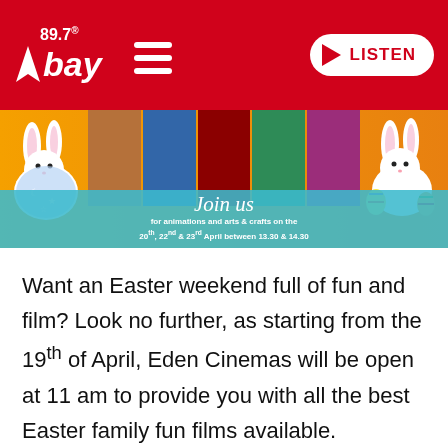89.7 Bay Radio — LISTEN
[Figure (illustration): Easter cinema promotion banner with animated Easter bunnies on left and right, movie poster film strips in the center on orange background, and a teal 'Join us for animations and arts & crafts on the 20th, 22nd & 23rd April between 13.30 & 14.30' overlay banner]
Want an Easter weekend full of fun and film? Look no further, as starting from the 19th of April, Eden Cinemas will be open at 11 am to provide you with all the best Easter family fun films available.
There's something in store for all the family, with various animations and interactive crafts workshops